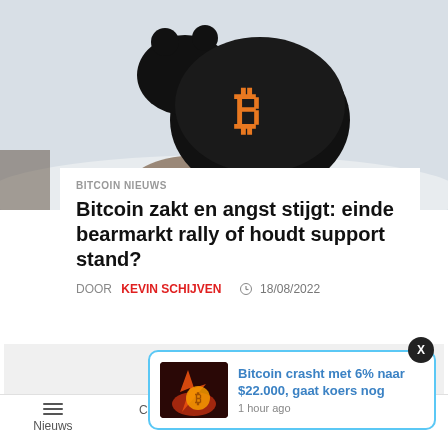[Figure (photo): Black bear with orange Bitcoin logo on its back, standing in snow with rocks]
BITCOIN NIEUWS
Bitcoin zakt en angst stijgt: einde bearmarkt rally of houdt support stand?
DOOR KEVIN SCHIJVEN  18/08/2022
[Figure (photo): Notification card: Bitcoin crash image with fire and bitcoin symbol. Text: Bitcoin crasht met 6% naar $22.000, gaat koers nog. 1 hour ago]
Nieuws  Columns  Community  Kopen